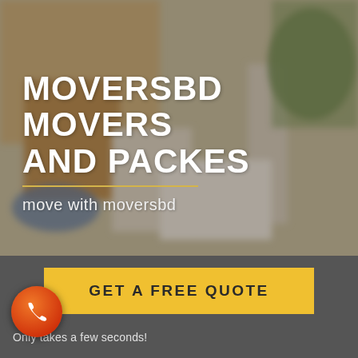[Figure (photo): Blurred background photo of a room with furniture, boxes and household items being packed for moving]
MOVERSBD MOVERS AND PACKES
move with moversbd
GET A FREE QUOTE
Only takes a few seconds!